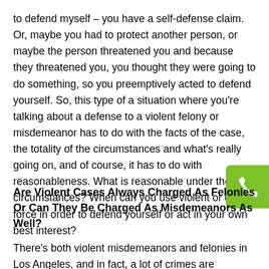to defend myself – you have a self-defense claim. Or, maybe you had to protect another person, or maybe the person threatened you and because they threatened you, you thought they were going to do something, so you preemptively acted to defend yourself. So, this type of a situation where you're talking about a defense to a violent felony or misdemeanor has to do with the facts of the case, the totality of the circumstances and what's really going on, and of course, it has to do with reasonableness. What is reasonable under the circumstances? When can you use violent or deadly force in order to defend yourself or act in your own best interest?
[Figure (other): Green phone/call button icon in bottom-right area]
Are Violent Cases Always Charged As Felonies Or Can They Be Charged As Misdemeanors As Well?
There's both violent misdemeanors and felonies in Los Angeles, and in fact, a lot of crimes are wobblers –